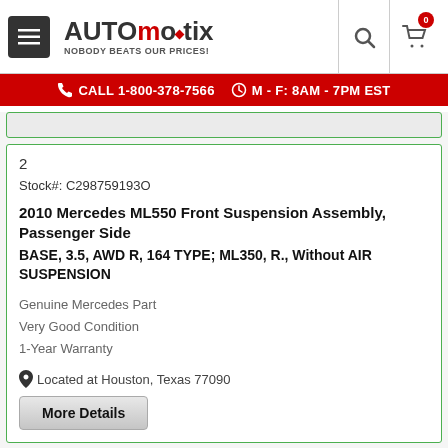AUTOmotix - NOBODY BEATS OUR PRICES!
CALL 1-800-378-7566  M - F: 8AM - 7PM EST
2
Stock#: C298759193O
2010 Mercedes ML550 Front Suspension Assembly, Passenger Side
BASE, 3.5, AWD R, 164 TYPE; ML350, R., Without AIR SUSPENSION
Genuine Mercedes Part
Very Good Condition
1-Year Warranty
Located at Houston, Texas 77090
More Details